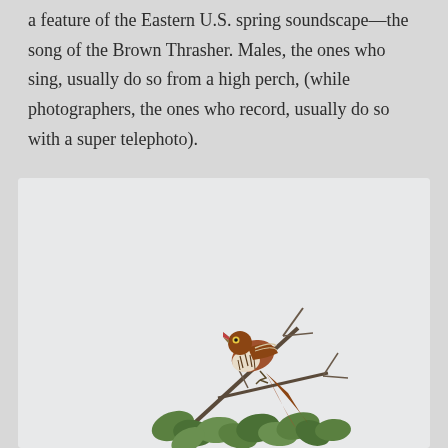a feature of the Eastern U.S. spring soundscape—the song of the Brown Thrasher. Males, the ones who sing, usually do so from a high perch, (while photographers, the ones who record, usually do so with a super telephoto).
[Figure (photo): A Brown Thrasher bird perched on a branch with its beak open, singing. The bird has a rust-brown back, streaked white and brown breast, and a long tail. It sits atop leafy green shrub branches against a light gray/white background.]